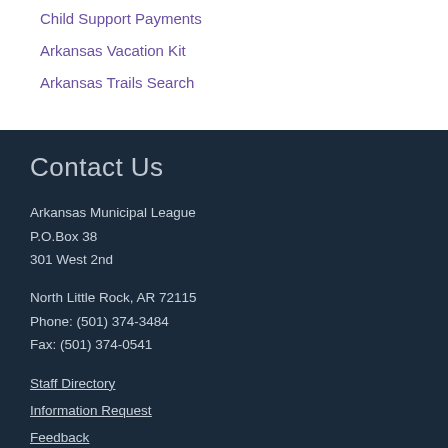Child Support Payments
Arkansas Vacation Kit
Arkansas Trails Search
Contact Us
Arkansas Municipal League
P.O.Box 38
301 West 2nd
North Little Rock, AR 72115
Phone: (501) 374-3484
Fax: (501) 374-0541
Staff Directory
Information Request
Feedback